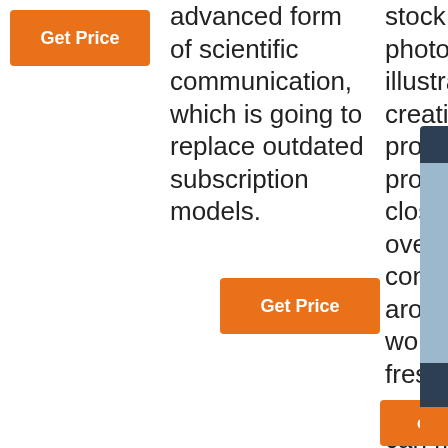Get Price
advanced form of scientific communication, which is going to replace outdated subscription models.
stock images, photos, and illustrations for creative projects, proudly closing over contri around world, fresh content that can make your work stand out
Get Price
[Figure (photo): Chat widget with a woman wearing a headset, labeled 24/7 Online, with a Click here for free chat! prompt and QUOTATION button]
Get Price